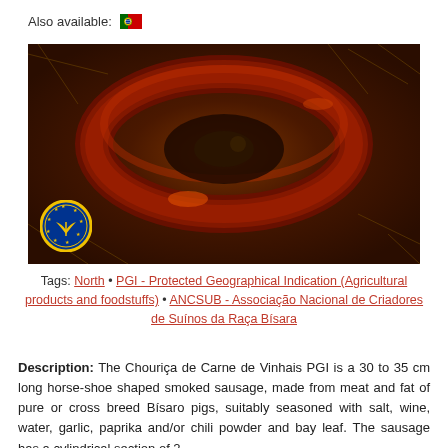Also available:
[Figure (photo): Photo of Chouriça de Carne de Vinhais PGI sausage, a horse-shoe shaped smoked sausage coiled on dried ferns/heather, with a PGI (Protected Geographical Indication) badge in the lower left corner.]
Tags: North • PGI - Protected Geographical Indication (Agricultural products and foodstuffs) • ANCSUB - Associação Nacional de Criadores de Suínos da Raça Bísara
Description: The Chouriça de Carne de Vinhais PGI is a 30 to 35 cm long horse-shoe shaped smoked sausage, made from meat and fat of pure or cross breed Bísaro pigs, suitably seasoned with salt, wine, water, garlic, paprika and/or chili powder and bay leaf. The sausage has a cylindrical section of 2